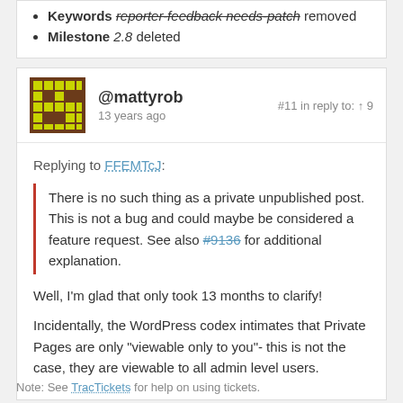Keywords reporter-feedback needs-patch removed
Milestone 2.8 deleted
@mattyrob  13 years ago  #11 in reply to: ↑ 9
Replying to FFEMTcJ:
There is no such thing as a private unpublished post. This is not a bug and could maybe be considered a feature request. See also #9136 for additional explanation.
Well, I'm glad that only took 13 months to clarify!
Incidentally, the WordPress codex intimates that Private Pages are only "viewable only to you"- this is not the case, they are viewable to all admin level users.
Note: See TracTickets for help on using tickets.